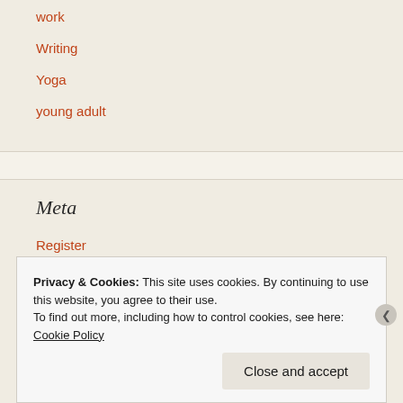work
Writing
Yoga
young adult
Meta
Register
Log in
Entries feed
Privacy & Cookies: This site uses cookies. By continuing to use this website, you agree to their use. To find out more, including how to control cookies, see here: Cookie Policy
Close and accept